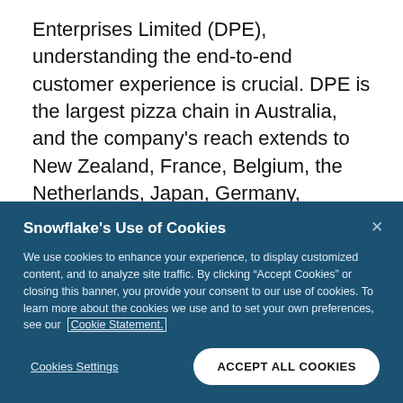Enterprises Limited (DPE), understanding the end-to-end customer experience is crucial. DPE is the largest pizza chain in Australia, and the company's reach extends to New Zealand, France, Belgium, the Netherlands, Japan, Germany, Luxembourg, and Denmark.
Michael Gillespie, Group Chief Digital and Technology Officer for DPE, has helped the company transform into
Snowflake's Use of Cookies
We use cookies to enhance your experience, to display customized content, and to analyze site traffic. By clicking "Accept Cookies" or closing this banner, you provide your consent to our use of cookies. To learn more about the cookies we use and to set your own preferences, see our Cookie Statement.
Cookies Settings
ACCEPT ALL COOKIES